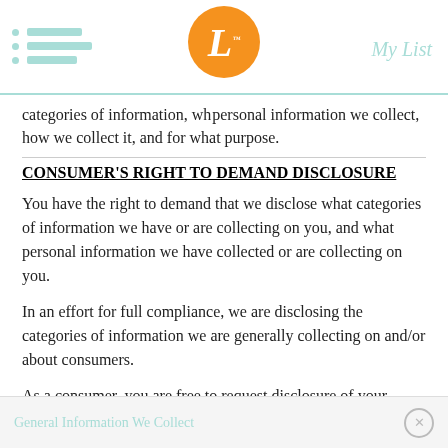My List
categories of information, what personal information we collect, how we collect it, and for what purpose.
CONSUMER'S RIGHT TO DEMAND DISCLOSURE
You have the right to demand that we disclose what categories of information we have or are collecting on you, and what personal information we have collected or are collecting on you.
In an effort for full compliance, we are disclosing the categories of information we are generally collecting on and/or about consumers.
As a consumer, you are free to request disclosure of your information at no extra charge to you if you make such requests no more than twice (2) during a 12-month period.
General Information We Collect